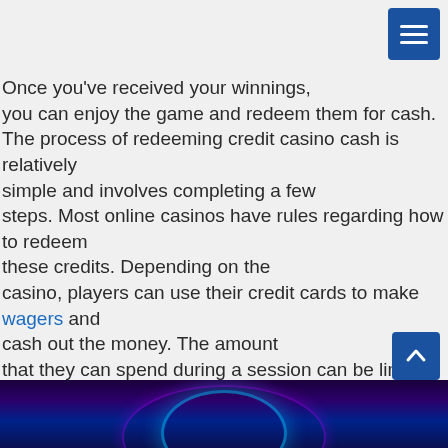Once you've received your winnings, you can enjoy the game and redeem them for cash. The process of redeeming credit casino cash is relatively simple and involves completing a few steps. Most online casinos have rules regarding how to redeem these credits. Depending on the casino, players can use their credit cards to make wagers and cash out the money. The amount that they can spend during a session can be limited to a certain amount. Other limits may include the number of sessions they can complete and the maximum virtual cashback bonus that they can receive.
[Figure (photo): Dark background image with colorful neon glowing circular light arcs in purple, blue and teal colors, bottom strip of the page.]